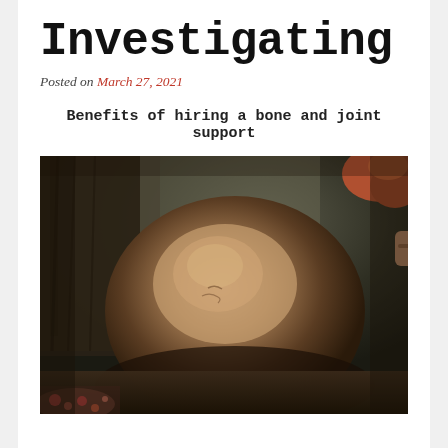Investigating
Posted on March 27, 2021
Benefits of hiring a bone and joint support
[Figure (photo): Close-up photograph of a human knee joint against a dark background, showing skin detail and a slight mark on the kneecap. A person with reddish hair is partially visible in the upper right corner.]